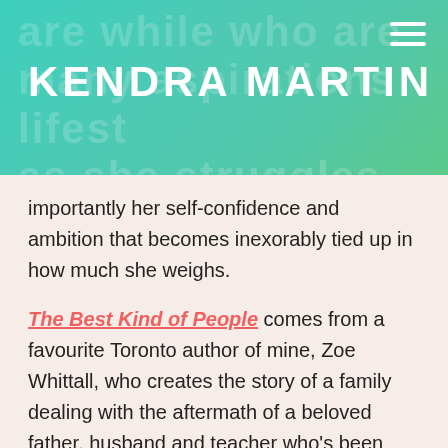KENDRA MARTIN
importantly her self-confidence and ambition that becomes inexorably tied up in how much she weighs.
The Best Kind of People comes from a favourite Toronto author of mine, Zoe Whittall, who creates the story of a family dealing with the aftermath of a beloved father, husband and teacher who's been charged with rape of three students. The novel presents a rounded view of the issue of rape, and how we as a society distort the issue, treat (or mis-treat) the victims and the accused in